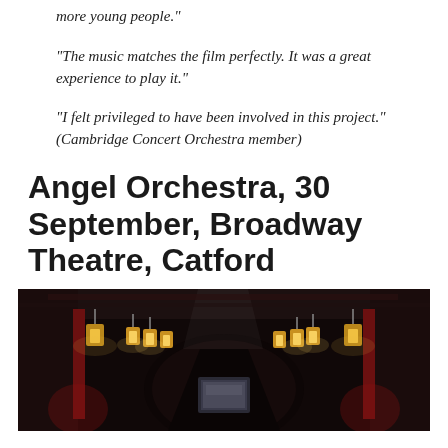“more young people.”
“The music matches the film perfectly. It was a great experience to play it.”
“I felt privileged to have been involved in this project.” (Cambridge Concert Orchestra member)
Angel Orchestra, 30 September, Broadway Theatre, Catford
[Figure (photo): Interior of Broadway Theatre, Catford showing the auditorium with red walls, ornate lantern lights, an arched entrance, and a projection screen at the far end with stage lighting.]